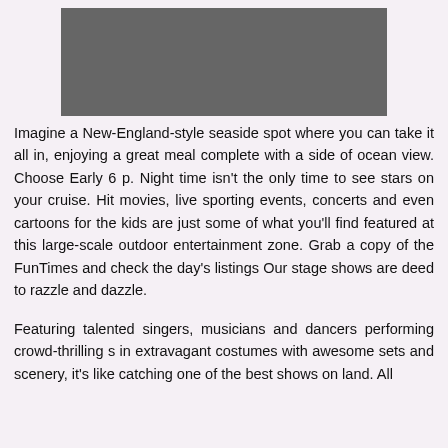[Figure (photo): Gray rectangular image placeholder at the top of the page]
Imagine a New-England-style seaside spot where you can take it all in, enjoying a great meal complete with a side of ocean view. Choose Early 6 p. Night time isn't the only time to see stars on your cruise. Hit movies, live sporting events, concerts and even cartoons for the kids are just some of what you'll find featured at this large-scale outdoor entertainment zone. Grab a copy of the FunTimes and check the day's listings Our stage shows are deed to razzle and dazzle.
Featuring talented singers, musicians and dancers performing crowd-thrilling s in extravagant costumes with awesome sets and scenery, it's like catching one of the best shows on land. All